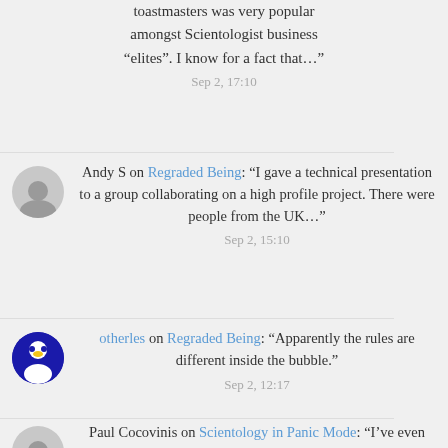toastmasters was very popular amongst Scientologist business “elites”. I know for a fact that…”
Sep 2, 17:10
Andy S on Regraded Being: “I gave a technical presentation to a group collaborating on a high profile project. There were people from the UK…”
Sep 2, 15:10
otherles on Regraded Being: “Apparently the rules are different inside the bubble.”
Sep 2, 12:17
Paul Cocovinis on Scientology in Panic Mode: “I’ve even managed to